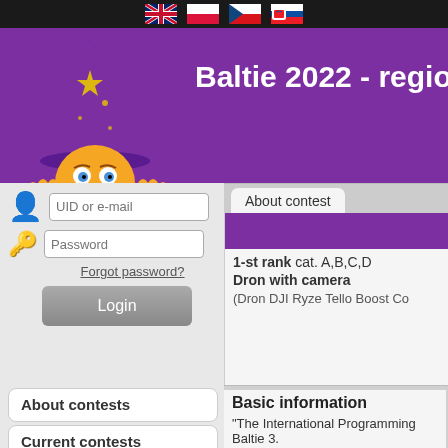[Figure (screenshot): Navigation flags: UK, Poland, Czech Republic, Slovakia]
Baltie 2022 - regio
[Figure (illustration): Wizard character with purple hat and yellow face peeking over edge]
[Figure (infographic): Login form with UID or e-mail and Password fields, Forgot password link, and Login button]
About contests
Current contests
Baltie 2022
Junior B3
About contest
1-st rank cat. A,B,C,D
Dron with camera
(Dron DJI Ryze Tello Boost Co
Basic information
"The International Programming Baltie 3.